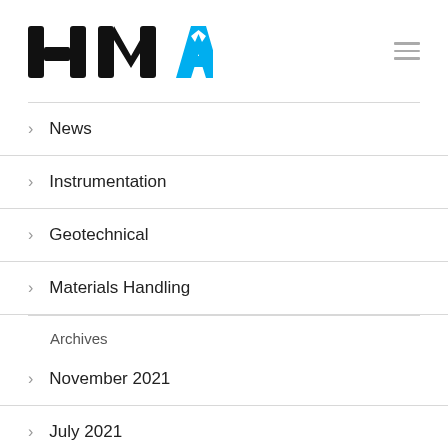[Figure (logo): HMA logo with black H, M and cyan A letters]
News
Instrumentation
Geotechnical
Materials Handling
Archives
November 2021
July 2021
March 2021